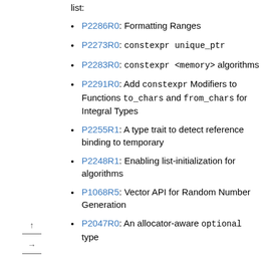list:
P2286R0: Formatting Ranges
P2273R0: constexpr unique_ptr
P2283R0: constexpr <memory> algorithms
P2291R0: Add constexpr Modifiers to Functions to_chars and from_chars for Integral Types
P2255R1: A type trait to detect reference binding to temporary
P2248R1: Enabling list-initialization for algorithms
P1068R5: Vector API for Random Number Generation
P2047R0: An allocator-aware optional type